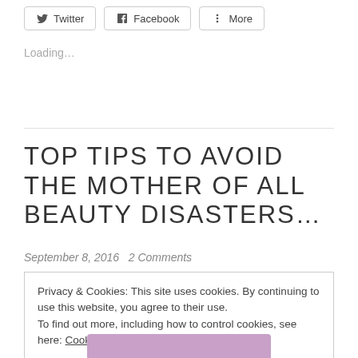[Figure (other): Social sharing buttons: Twitter, Facebook, More]
Loading...
TOP TIPS TO AVOID THE MOTHER OF ALL BEAUTY DISASTERS…
September 8, 2016   2 Comments
Privacy & Cookies: This site uses cookies. By continuing to use this website, you agree to their use.
To find out more, including how to control cookies, see here: Cookie Policy
[Figure (photo): Partial image visible at bottom of page, appears to show a face with pink/purple glasses]